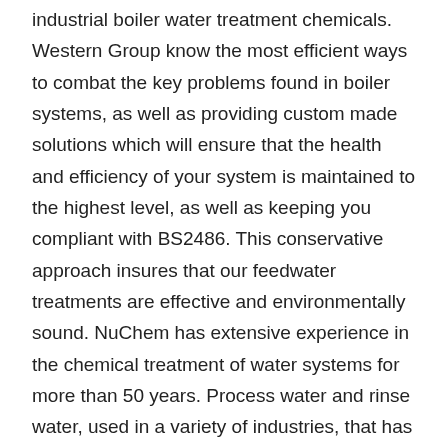industrial boiler water treatment chemicals. Western Group know the most efficient ways to combat the key problems found in boiler systems, as well as providing custom made solutions which will ensure that the health and efficiency of your system is maintained to the highest level, as well as keeping you compliant with BS2486. This conservative approach insures that our feedwater treatments are effective and environmentally sound. NuChem has extensive experience in the chemical treatment of water systems for more than 50 years. Process water and rinse water, used in a variety of industries, that has become contaminated with chemicals and metals must be properly filtered through a process water filtration system prior to discharge. Cetamine® : Innovative and comprehensive technology based on film-forming